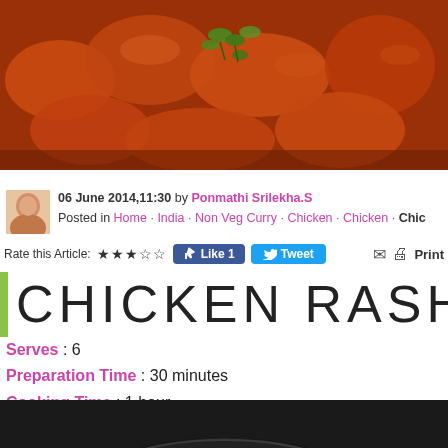[Figure (photo): Close-up photo of chicken curry with orange-red sauce and green cilantro garnish]
06 June 2014,11:30 by Ponmathi Srilekha.S
Posted in Home · India · Non Veg Curry · Chicken · Chicken · Chic
Rate this Article: ★★★☆☆  [Like 1] [Tweet]  [Print]
CHICKEN RASHID
Serves : 6
Preparation Time : 30 minutes
Cooking Time : 1 hour
[Figure (photo): Photo of chicken curry in a dark pan/skillet, viewed from above on dark background]